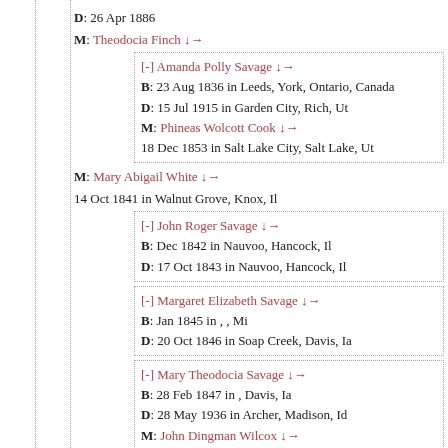D: 26 Apr 1886
M: Theodocia Finch ↓→
[-] Amanda Polly Savage ↓→
B: 23 Aug 1836 in Leeds, York, Ontario, Canada
D: 15 Jul 1915 in Garden City, Rich, Ut
M: Phineas Wolcott Cook ↓→
18 Dec 1853 in Salt Lake City, Salt Lake, Ut
M: Mary Abigail White ↓→
14 Oct 1841 in Walnut Grove, Knox, Il
[-] John Roger Savage ↓→
B: Dec 1842 in Nauvoo, Hancock, Il
D: 17 Oct 1843 in Nauvoo, Hancock, Il
[-] Margaret Elizabeth Savage ↓→
B: Jan 1845 in , , Mi
D: 20 Oct 1846 in Soap Creek, Davis, Ia
[-] Mary Theodocia Savage ↓→
B: 28 Feb 1847 in , Davis, Ia
D: 28 May 1936 in Archer, Madison, Id
M: John Dingman Wilcox ↓→
23 Aug 1865 in Paris, Bear Lake, Id